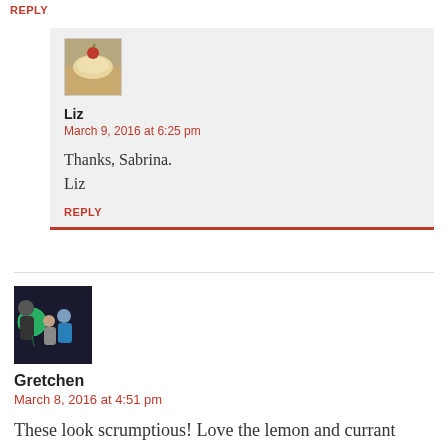REPLY
[Figure (photo): Small square avatar image of a dessert with a red berry on top]
Liz
March 9, 2016 at 6:25 pm
Thanks, Sabrina.
Liz
REPLY
[Figure (photo): Avatar image showing a person with two children, one holding a balloon]
Gretchen
March 8, 2016 at 4:51 pm
These look scrumptious! Love the lemon and currant